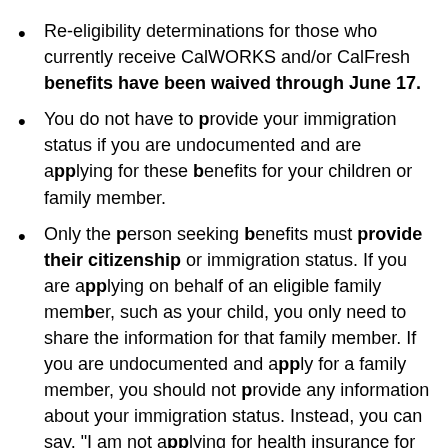Re-eligibility determinations for those who currently receive CalWORKS and/or CalFresh benefits have been waived through June 17.
You do not have to provide your immigration status if you are undocumented and are applying for these benefits for your children or family member.
Only the person seeking benefits must provide their citizenship or immigration status. If you are applying on behalf of an eligible family member, such as your child, you only need to share the information for that family member. If you are undocumented and apply for a family member, you should not provide any information about your immigration status. Instead, you can say, “I am not applying for health insurance for myself.”
California WIC Nutrition Program (W...